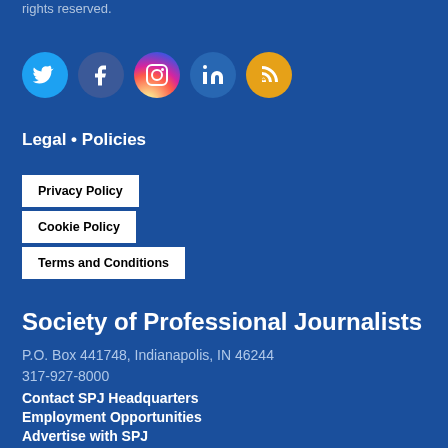rights reserved.
[Figure (logo): Social media icons: Twitter (blue bird), Facebook (dark blue f), Instagram (gradient camera), LinkedIn (blue in), RSS (orange feed icon)]
Legal • Policies
Privacy Policy
Cookie Policy
Terms and Conditions
Society of Professional Journalists
P.O. Box 441748, Indianapolis, IN 46244
317-927-8000
Contact SPJ Headquarters
Employment Opportunities
Advertise with SPJ